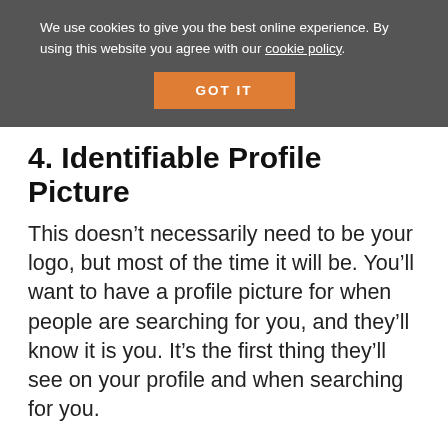We use cookies to give you the best online experience. By using this website you agree with our cookie policy.
GOT IT
4. Identifiable Profile Picture
This doesn’t necessarily need to be your logo, but most of the time it will be. You’ll want to have a profile picture for when people are searching for you, and they’ll know it is you. It’s the first thing they’ll see on your profile and when searching for you.